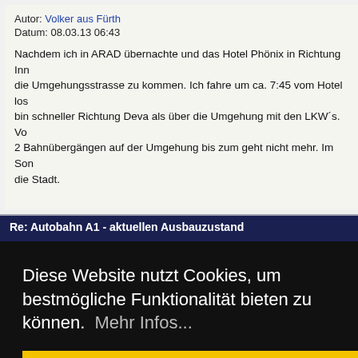Autor: Volker aus Fürth
Datum: 08.03.13 06:43
Nachdem ich in ARAD übernachte und das Hotel Phönix in Richtung Inn die Umgehungsstrasse zu kommen. Ich fahre um ca. 7:45 vom Hotel los bin schneller Richtung Deva als über die Umgehung mit den LKW´s. Vo 2 Bahnübergängen auf der Umgehung bis zum geht nicht mehr. Im Son die Stadt.
Re: Autobahn A1 - aktuellen Ausbauzustand
dann in Dev r in Bukares
Diese Website nutzt Cookies, um bestmögliche Funktionalität bieten zu können.  Mehr Infos...
Ok, verstanden!